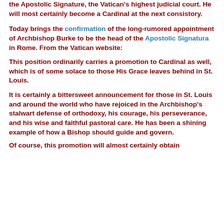the Apostolic Signature, the Vatican's highest judicial court. He will most certainly become a Cardinal at the next consistory.
Today brings the confirmation of the long-rumored appointment of Archbishop Burke to be the head of the Apostolic Signatura in Rome. From the Vatican website:
This position ordinarily carries a promotion to Cardinal as well, which is of some solace to those His Grace leaves behind in St. Louis.
It is certainly a bittersweet announcement for those in St. Louis and around the world who have rejoiced in the Archbishop's stalwart defense of orthodoxy, his courage, his perseverance, and his wise and faithful pastoral care. He has been a shining example of how a Bishop should guide and govern.
Of course, this promotion will almost certainly obtain